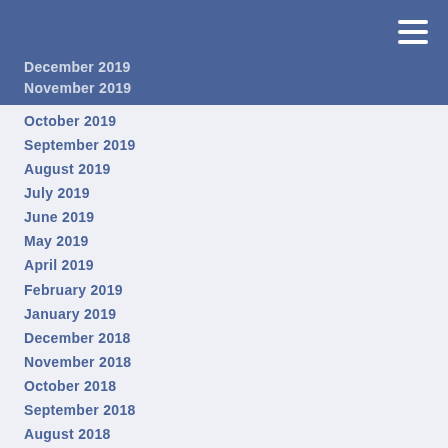December 2019
November 2019
October 2019
September 2019
August 2019
July 2019
June 2019
May 2019
April 2019
February 2019
January 2019
December 2018
November 2018
October 2018
September 2018
August 2018
July 2018
June 2018
May 2018
March 2018
February 2018